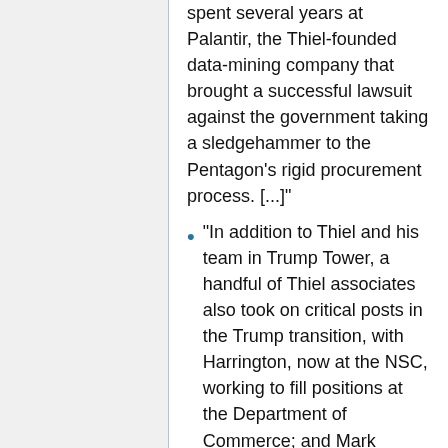spent several years at Palantir, the Thiel-founded data-mining company that brought a successful lawsuit against the government taking a sledgehammer to the Pentagon’s rigid procurement process. [...]
“In addition to Thiel and his team in Trump Tower, a handful of Thiel associates also took on critical posts in the Trump transition, with Harrington, now at the NSC, working to fill positions at the Department of Commerce; and Mark Woolway, a Thiel colleague from his PayPal days, doing the same the Treasury Department. Others slated to take on important roles in the administration — such as Josh